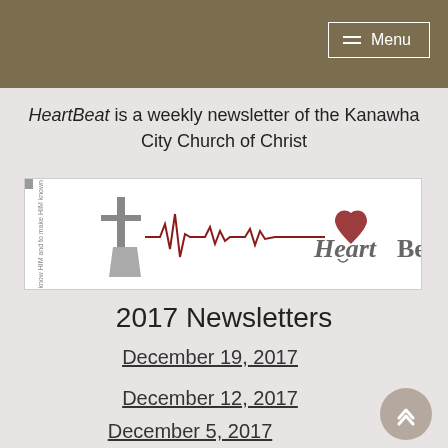Menu
HeartBeat is a weekly newsletter of the Kanawha City Church of Christ
[Figure (logo): HeartBeat newsletter logo with a cross, EKG heartbeat line, and stylized HeartBeat text with a heart shape]
2017 Newsletters
December 19, 2017
December 12, 2017
December 5, 2017